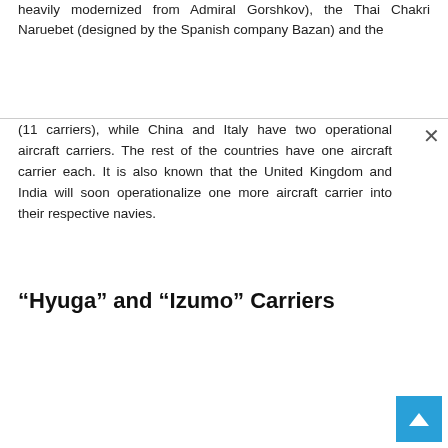heavily modernized from Admiral Gorshkov), the Thai Chakri Naruebet (designed by the Spanish company Bazan) and the
(11 carriers), while China and Italy have two operational aircraft carriers. The rest of the countries have one aircraft carrier each. It is also known that the United Kingdom and India will soon operationalize one more aircraft carrier into their respective navies.
“Hyuga” and “Izumo” Carriers